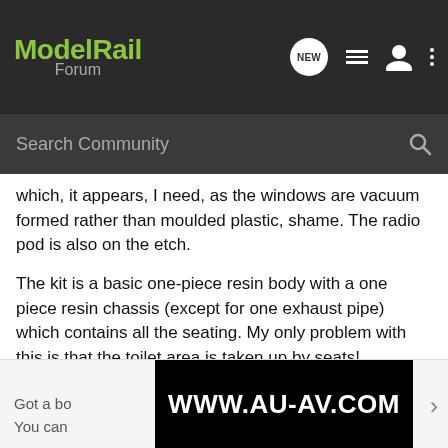Model Rail Forum
which, it appears, I need, as the windows are vacuum formed rather than moulded plastic, shame. The radio pod is also on the etch.
The kit is a basic one-piece resin body with a one piece resin chassis (except for one exhaust pipe) which contains all the seating. My only problem with this is that the toilet area is taken up by seats! Nevermind, bit of plasticard should suffice, unless there is a piece on the etch. The bogies are also resin formed and are one piece except the motor bogie with comprises two sides to attach to the motor.
[Figure (screenshot): Advertisement banner showing www.au-av.com on a dark starfield background]
Got a bo
You can